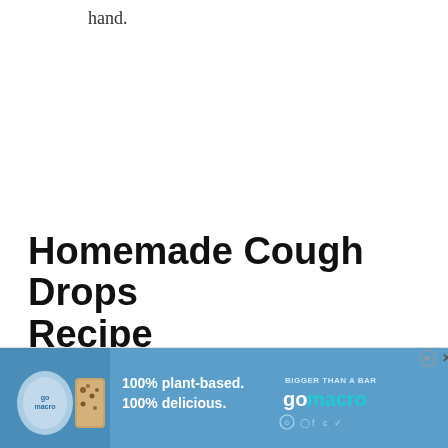hand.
Homemade Cough Drops Recipe
[Figure (other): Advertisement banner for GoMacro: '100% plant-based. 100% delicious.' with product image and logo on a blue background]